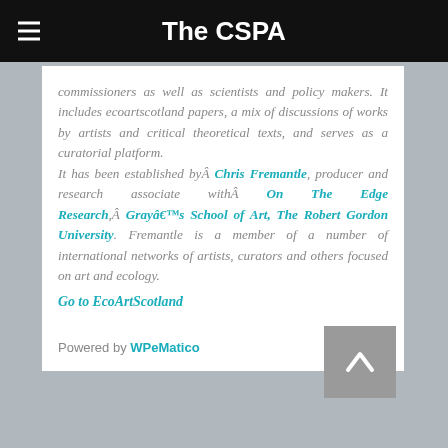The CSPA
commissioners as well as scientists and policy makers. It includes ecoartscotland papers, a mix of discussions of works by artists and critical theoretical texts, and serves as a curatorial platform.
It has been established byÂ Chris Fremantle, producer and research associate withÂ On The Edge Research,Â Grayâ€™s School of Art, The Robert Gordon University. Fremantle is a member of a number of international networks of artists, curators and others focused on art and ecology.
Go to EcoArtScotland
Powered by WPeMatico